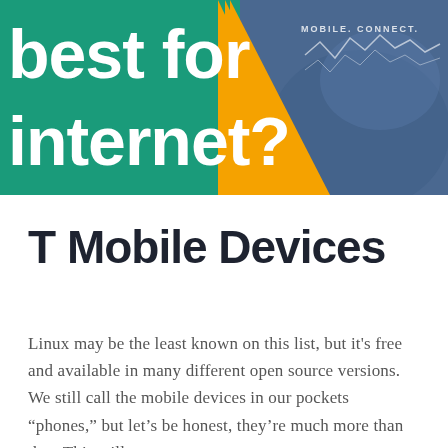[Figure (photo): A cropped image showing a green panel on the left with white bold text reading 'best for internet?' (partially visible), an orange/yellow triangle in the center-left area, and a person wearing a blue denim t-shirt with white text 'MOBILE. CONNECT.' on the right.]
T Mobile Devices
Linux may be the least known on this list, but it's free and available in many different open source versions. We still call the mobile devices in our pockets “phones,” but let’s be honest, they’re much more than that. This will cover